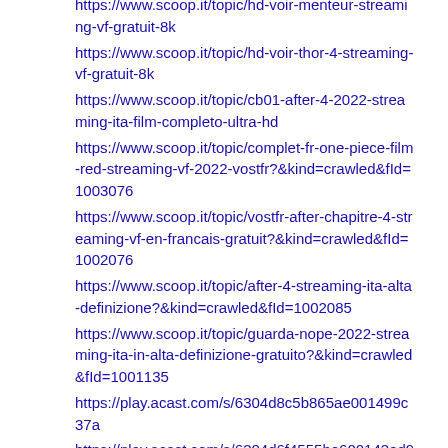https://www.scoop.it/topic/hd-voir-menteur-streaming-vf-gratuit-8k
https://www.scoop.it/topic/hd-voir-thor-4-streaming-vf-gratuit-8k
https://www.scoop.it/topic/cb01-after-4-2022-streaming-ita-film-completo-ultra-hd
https://www.scoop.it/topic/complet-fr-one-piece-film-red-streaming-vf-2022-vostfr?&kind=crawled&fId=1003076
https://www.scoop.it/topic/vostfr-after-chapitre-4-streaming-vf-en-francais-gratuit?&kind=crawled&fId=1002076
https://www.scoop.it/topic/after-4-streaming-ita-alta-definizione?&kind=crawled&fId=1002085
https://www.scoop.it/topic/guarda-nope-2022-streaming-ita-in-alta-definizione-gratuito?&kind=crawled&fId=1001135
https://play.acast.com/s/6304d8c5b865ae001499c37a
https://play.acast.com/s/6304d6f4555be600143ed97e